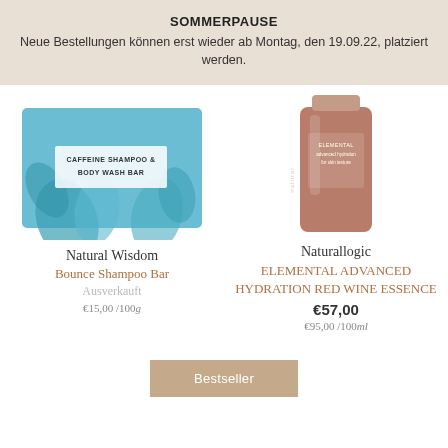SOMMERPAUSE
Neue Bestellungen können erst wieder ab Montag, den 19.09.22, platziert werden.
[Figure (photo): Caffeine Shampoo & Body Wash Bar soap product with blue floral packaging]
[Figure (photo): Naturallogic brown cylindrical bottle product]
Natural Wisdom
Bounce Shampoo Bar
Ausverkauft
€15,00/100g
Naturallogic
ELEMENTAL ADVANCED HYDRATION RED WINE ESSENCE
€57,00
€95,00/100ml
Bestseller